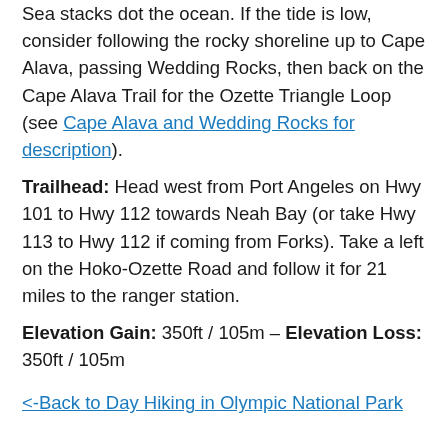Sea stacks dot the ocean. If the tide is low, consider following the rocky shoreline up to Cape Alava, passing Wedding Rocks, then back on the Cape Alava Trail for the Ozette Triangle Loop (see Cape Alava and Wedding Rocks for description).
Trailhead: Head west from Port Angeles on Hwy 101 to Hwy 112 towards Neah Bay (or take Hwy 113 to Hwy 112 if coming from Forks). Take a left on the Hoko-Ozette Road and follow it for 21 miles to the ranger station.
Elevation Gain: 350ft / 105m – Elevation Loss: 350ft / 105m
<-Back to Day Hiking in Olympic National Park